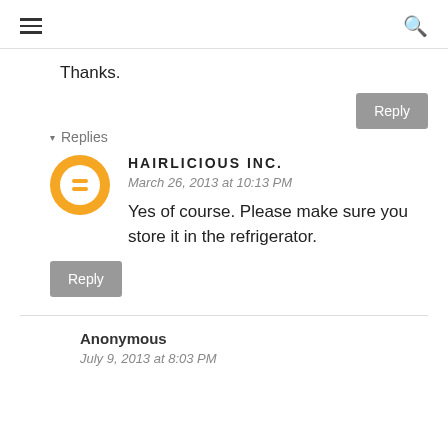menu / search
Thanks.
▾ Replies
HAIRLICIOUS INC.
March 26, 2013 at 10:13 PM
Yes of course. Please make sure you store it in the refrigerator.
Anonymous
July 9, 2013 at 8:03 PM